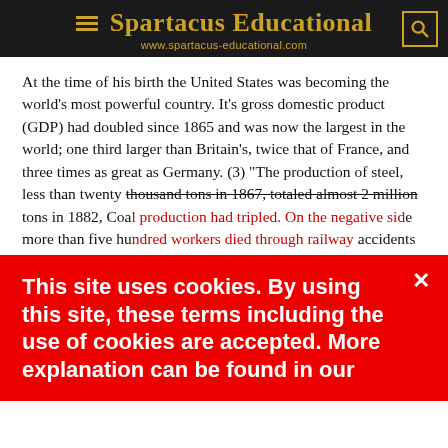Spartacus Educational
www.spartacus-educational.com
At the time of his birth the United States was becoming the world's most powerful country. It's gross domestic product (GDP) had doubled since 1865 and was now the largest in the world; one third larger than Britain's, twice that of France, and three times as great as Germany. (3) "The production of steel, less than twenty thousand tons in 1867, totaled almost 2 million tons in 1882, Coal production had tripled. On the negative side more than five hundred workers died through railway accidents each year. (4)
Families as wealthy as newborn babies to explanation can be found in our she recovered from
This site uses cookies. By using this site, these terms including the use of cookies are accepted. More explanation can be found in our